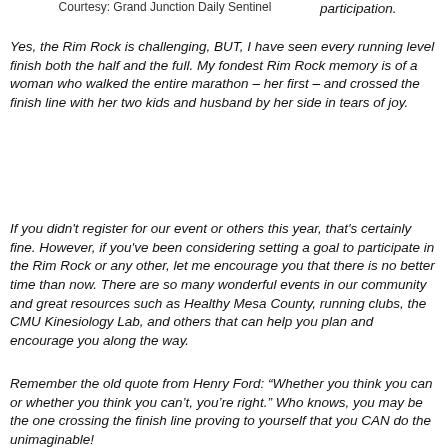Courtesy: Grand Junction Daily Sentinel
participation.
Yes, the Rim Rock is challenging, BUT, I have seen every running level finish both the half and the full. My fondest Rim Rock memory is of a woman who walked the entire marathon – her first – and crossed the finish line with her two kids and husband by her side in tears of joy.
If you didn't register for our event or others this year, that's certainly fine. However, if you've been considering setting a goal to participate in the Rim Rock or any other, let me encourage you that there is no better time than now. There are so many wonderful events in our community and great resources such as Healthy Mesa County, running clubs, the CMU Kinesiology Lab, and others that can help you plan and encourage you along the way.
Remember the old quote from Henry Ford: “Whether you think you can or whether you think you can’t, you’re right.” Who knows, you may be the one crossing the finish line proving to yourself that you CAN do the unimaginable!